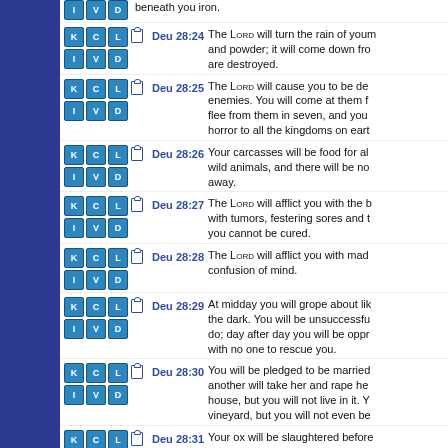Deu 28:24 - beneath you iron.
Deu 28:24 - The LORD will turn the rain of your land to dust and powder; it will come down from the skies until you are destroyed.
Deu 28:25 - The LORD will cause you to be defeated before your enemies. You will come at them from one direction but flee from them in seven, and you will become a thing of horror to all the kingdoms on earth.
Deu 28:26 - Your carcasses will be food for all the birds and the wild animals, and there will be no one to frighten them away.
Deu 28:27 - The LORD will afflict you with the boils of Egypt and with tumors, festering sores and the itch, from which you cannot be cured.
Deu 28:28 - The LORD will afflict you with madness, blindness and confusion of mind.
Deu 28:29 - At midday you will grope about like a blind person in the dark. You will be unsuccessful in everything you do; day after day you will be oppressed and robbed, with no one to rescue you.
Deu 28:30 - You will be pledged to be married to a woman, but another will take her and rape her. You will build a house, but you will not live in it. You will plant a vineyard, but you will not even begin to enjoy its fruit.
Deu 28:31 - Your ox will be slaughtered before your eyes...